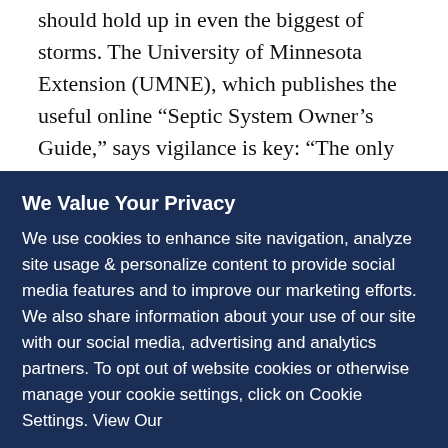should hold up in even the biggest of storms. The University of Minnesota Extension (UMNE), which publishes the useful online “Septic System Owner’s Guide,” says vigilance is key: “The only way to guarantee effective treatment is to have a trained professional ensure adequate unsaturated and suitable soil exists below the soil treatment area to allow for complete wastewater treatment.”
When homeowners don’t take care of their septic systems properly, though, they can become a nuisance for the surrounding ecosystem. Wastewater that is not properly treated can contaminate surface and groundwater and threaten public
We Value Your Privacy
We use cookies to enhance site navigation, analyze site usage & personalize content to provide social media features and to improve our marketing efforts. We also share information about your use of our site with our social media, advertising and analytics partners. To opt out of website cookies or otherwise manage your cookie settings, click on Cookie Settings. View Our